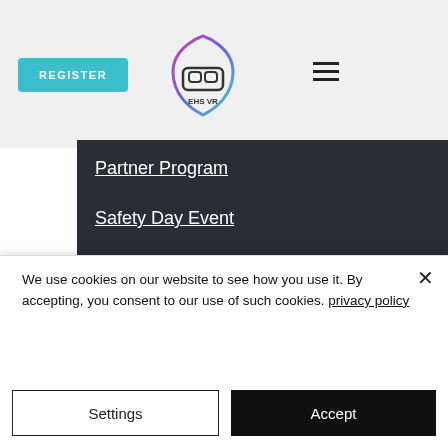[Figure (screenshot): EHS VR logo — shield outline with VR headset and text 'EHS VR']
REGISTER
Partner Program
Safety Day Event
Price list
Tutorials
Webinars
We use cookies on our website to see how you use it. By accepting, you consent to our use of such cookies. privacy policy
Settings
Accept